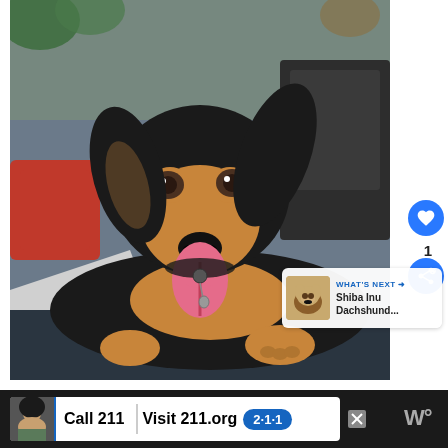[Figure (photo): A black and tan dog with long fur, tongue out, lying on dark outdoor furniture cushions. There is a red patterned pillow in the background. Overlaid UI elements: a blue heart button with count '1', a blue share button, and a 'WHAT'S NEXT' card showing a Shiba Inu Dachshund preview.]
[Figure (screenshot): Advertisement bar at the bottom: dark background with a white ad panel showing a person's photo, 'Call 211 | Visit 211.org' text and a blue '2·1·1' badge. A close X button and a weather widget icon are on the right.]